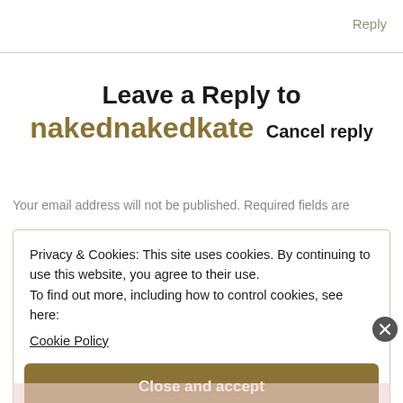Reply
Leave a Reply to nakednakedkate Cancel reply
Your email address will not be published. Required fields are
Privacy & Cookies: This site uses cookies. By continuing to use this website, you agree to their use.
To find out more, including how to control cookies, see here:
Cookie Policy
Close and accept